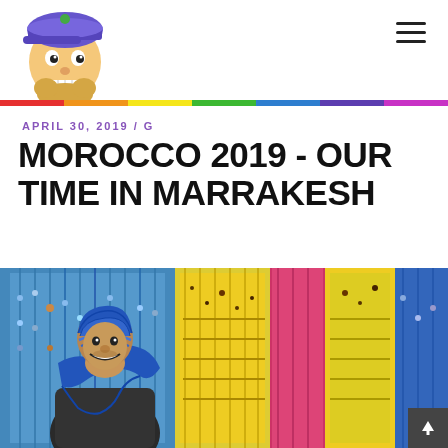[Figure (logo): Cartoon mascot logo: illustrated character with blonde beard, blue baseball cap, and grinning expression]
APRIL 30, 2019 / G
MOROCCO 2019 - OUR TIME IN MARRAKESH
[Figure (photo): A man wearing a blue turban/scarf smiling in a colorful market stall filled with hanging jewelry and beaded necklaces on blue, yellow, pink display boards]